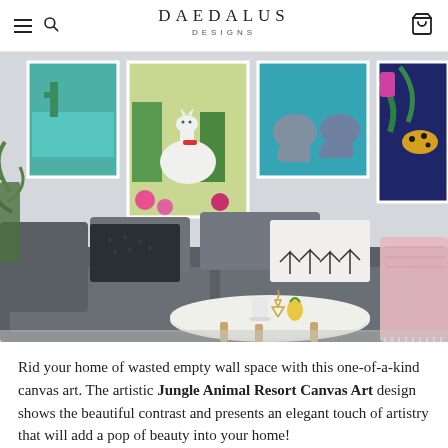DAEDALUS DESIGNS
[Figure (photo): Living room scene with a grey sectional sofa decorated with cushions and a pink throw blanket. A round white coffee table sits in front. On the wall above hang multiple colorful framed canvas art prints featuring jungle and tropical themes including a llama, elephants, and a leopard.]
Rid your home of wasted empty wall space with this one-of-a-kind canvas art. The artistic Jungle Animal Resort Canvas Art design shows the beautiful contrast and presents an elegant touch of artistry that will add a pop of beauty into your home!